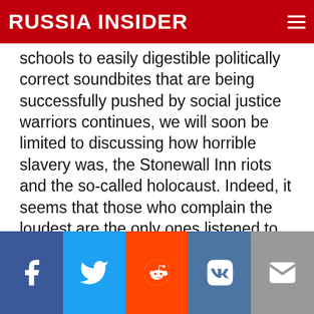RUSSIA INSIDER
schools to easily digestible politically correct soundbites that are being successfully pushed by social justice warriors continues, we will soon be limited to discussing how horrible slavery was, the Stonewall Inn riots and the so-called holocaust. Indeed, it seems that those who complain the loudest are the only ones listened to and no one complains more often or at greater volume than American Jewish groups intent on preserving the benefits that are derived from always being able to claim their perpetual victimhood.
[Figure (infographic): Social share buttons: Facebook, Twitter, Reddit, VK, Email]